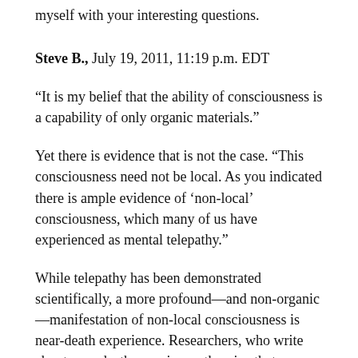myself with your interesting questions.
Steve B., July 19, 2011, 11:19 p.m. EDT
“It is my belief that the ability of consciousness is a capability of only organic materials.”
Yet there is evidence that is not the case. “This consciousness need not be local. As you indicated there is ample evidence of ‘non-local’ consciousness, which many of us have experienced as mental telepathy.”
While telepathy has been demonstrated scientifically, a more profound—and non-organic—manifestation of non-local consciousness is near-death experience. Researchers, who write about near-death experience, theorize that consciousness manifests itself materially, but that’s not the same